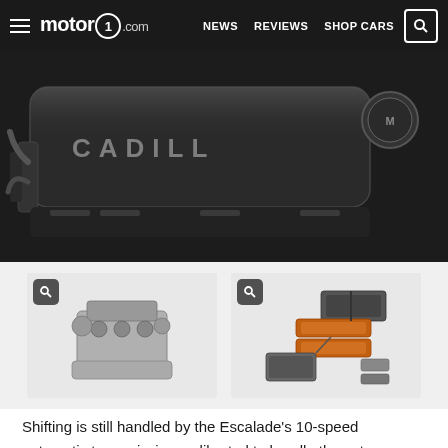motor1.com  NEWS  REVIEWS  SHOP CARS
[Figure (photo): Close-up photo of a Cadillac engine bay showing the engine cover with CADILLAC lettering and an oil cap on the right side]
[Figure (photo): Thumbnail of a standalone engine (likely Cadillac V8) on white background]
[Figure (photo): Thumbnail of exploded view of electronic/hybrid components (modules, batteries, connectors) on white background]
Shifting is still handled by the Escalade's 10-speed automatic transmission, calibrated to handle the extra power. It goes to all four wheels permanently with an all-wheel-drive system that splits power 50/50 in normal operation, or up to 66 percent rearward in Sport mode.